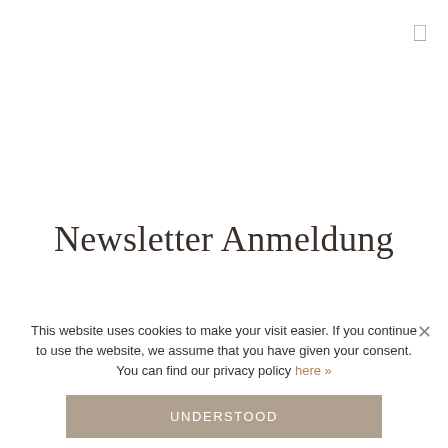Newsletter Anmeldung
E-Mail Adresse
This website uses cookies to make your visit easier. If you continue to use the website, we assume that you have given your consent. You can find our privacy policy here »
UNDERSTOOD